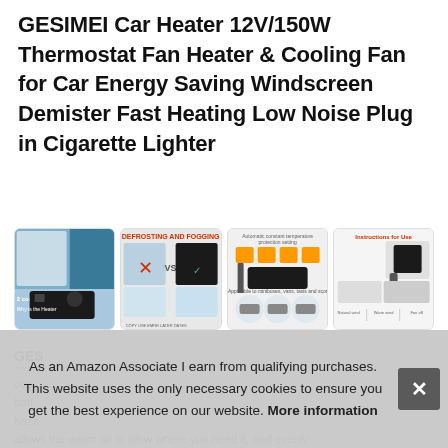GESIMEI Car Heater 12V/150W Thermostat Fan Heater & Cooling Fan for Car Energy Saving Windscreen Demister Fast Heating Low Noise Plug in Cigarette Lighter
[Figure (photo): Four product thumbnail images of the GESIMEI car heater showing product features, defrosting comparison, temperature settings, and usage instructions]
GESIMEI cop batt haza allows the warm air to blow where you need it, and evenly
As an Amazon Associate I earn from qualifying purchases. This website uses the only necessary cookies to ensure you get the best experience on our website. More information